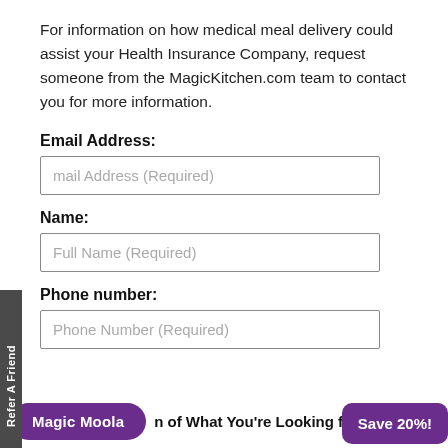For information on how medical meal delivery could assist your Health Insurance Company, request someone from the MagicKitchen.com team to contact you for more information.
Email Address:
mail Address (Required)
ame:
Full Name (Required)
Phone number:
Phone Number (Required)
Magic Moola
n of What You're Looking for
Save 20%!